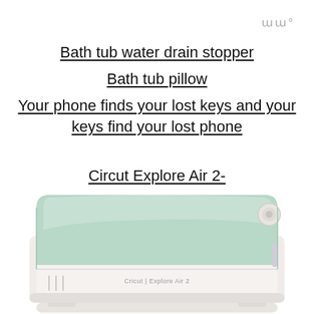ɯɯ°
Bath tub water drain stopper
Bath tub pillow
Your phone finds your lost keys and your keys find your lost phone
Circut Explore Air 2-
[Figure (photo): Cricut Explore Air 2 cutting machine in mint/light green color, shown from a front-angle view on white background]